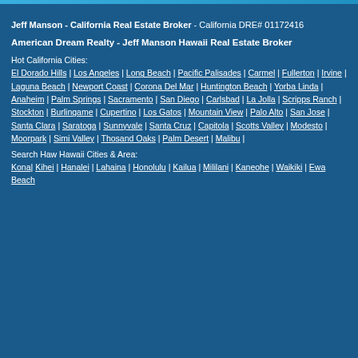Jeff Manson - California Real Estate Broker - California DRE# 01172416
American Dream Realty - Jeff Manson Hawaii Real Estate Broker
Hot California Cities:
El Dorado Hills | Los Angeles | Long Beach | Pacific Palisades | Carmel | Fullerton | Irvine | Laguna Beach | Newport Coast | Corona Del Mar | Huntington Beach | Yorba Linda | Anaheim | Palm Springs | Sacramento | San Diego | Carlsbad | La Jolla | Scripps Ranch | Stockton | Burlingame | Cupertino | Los Gatos | Mountain View | Palo Alto | San Jose | Santa Clara | Saratoga | Sunnyvale | Santa Cruz | Capitola | Scotts Valley | Modesto | Moorpark | Simi Valley | Thosand Oaks | Palm Desert | Malibu |
Search Haw Hawaii Cities & Area:
Kona| Kihei | Hanalei | Lahaina | Honolulu | Kailua | Mililani | Kaneohe | Waikiki | Ewa Beach